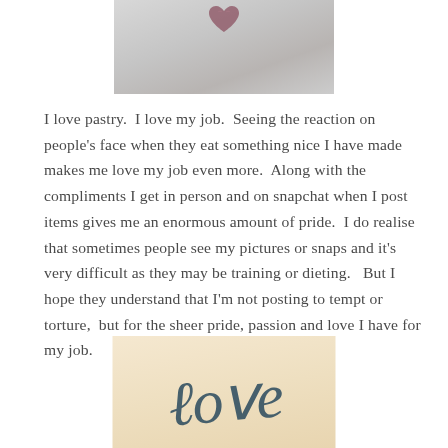[Figure (photo): Top portion of a photo showing a fuzzy/fluffy grey surface with a small decorative heart motif at the top center]
I love pastry.  I love my job.  Seeing the reaction on people's face when they eat something nice I have made makes me love my job even more.  Along with the compliments I get in person and on snapchat when I post items gives me an enormous amount of pride.  I do realise that sometimes people see my pictures or snaps and it's very difficult as they may be training or dieting.   But I hope they understand that I'm not posting to tempt or torture,  but for the sheer pride, passion and love I have for my job.
[Figure (illustration): Decorative image with a warm beige/cream background featuring elegant cursive script text reading 'Love']